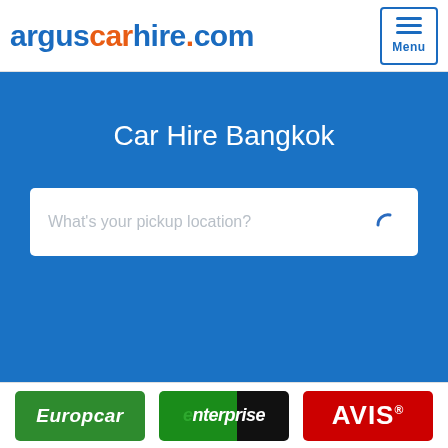[Figure (logo): arguscarhire.com logo in blue and orange]
[Figure (other): Hamburger menu button with three lines and 'Menu' text]
Car Hire Bangkok
[Figure (other): Search input box with placeholder text 'What's your pickup location?' and a loading spinner icon]
[Figure (logo): Europcar logo - green badge with white italic text]
[Figure (logo): Enterprise logo - green and black badge with white italic text]
[Figure (logo): AVIS logo - red badge with white bold text]